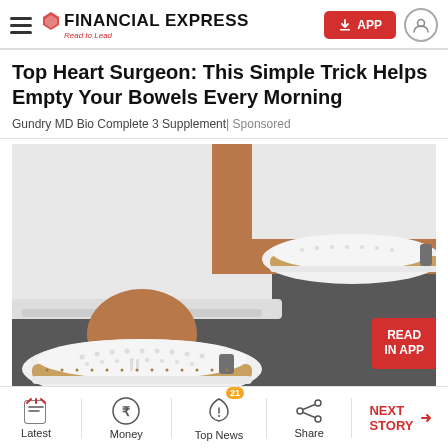FINANCIAL EXPRESS Read to Lead
Top Heart Surgeon: This Simple Trick Helps Empty Your Bowels Every Morning
Gundry MD Bio Complete 3 Supplement | Sponsored
[Figure (photo): Close-up photo of a person wearing white jeans and white perforated slip-on sneakers with tan/cork soles on a dark pavement surface. A red badge in the bottom-right corner reads 'READ IN APP'.]
Latest | Money | Top News 21 | Share | NEXT STORY →